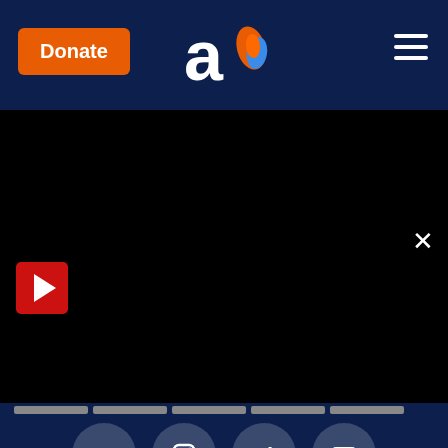Donate | Aish logo | Navigation menu
[Figure (screenshot): Black video player area with play button, READ MORE button, and pagination bar]
[Figure (infographic): Social media icons row: Facebook, Instagram, Twitter, YouTube on dark navy background]
Sections
Spirituality
Israel
Family
Dating
Resources
Western Wall Camera
Holocaust
Ask The Rabbi
Candlelighting Times